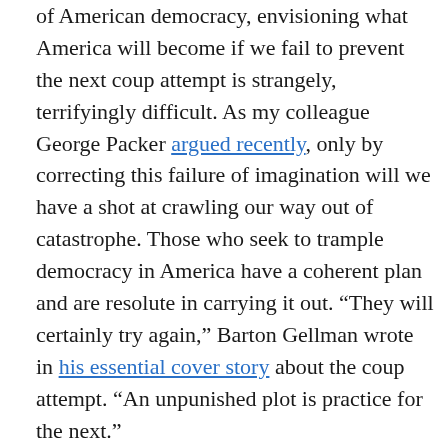of American democracy, envisioning what America will become if we fail to prevent the next coup attempt is strangely, terrifyingly difficult. As my colleague George Packer argued recently, only by correcting this failure of imagination will we have a shot at crawling our way out of catastrophe. Those who seek to trample democracy in America have a coherent plan and are resolute in carrying it out. “They will certainly try again,” Barton Gellman wrote in his essential cover story about the coup attempt. “An unpunished plot is practice for the next.”
It’s not just that the stakes are high; we’re also running out of time. The things we stand to lose aren’t just abstract ideals, but actual freedoms. I find myself thinking often of a